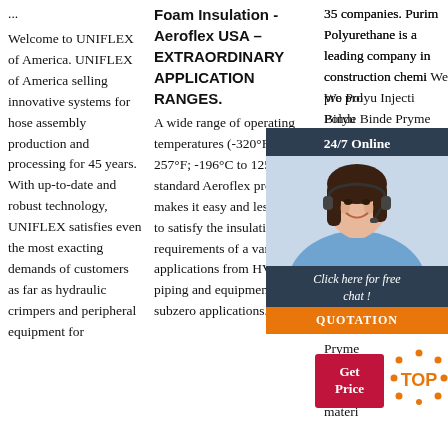...
Welcome to UNIFLEX of America. UNIFLEX of America selling innovative systems for hose assembly production and processing for 45 years. With up-to-date and robust technology, UNIFLEX satisfies even the most exacting demands of customers as far as hydraulic crimpers and peripheral equipment for
Foam Insulation - Aeroflex USA – EXTRAORDINARY APPLICATION RANGES.
A wide range of operating temperatures (-320°F to 257°F; -196°C to 125°C) on standard Aeroflex products makes it easy and less costly to satisfy the insulation requirements of a variety of applications from HVAC piping and equipment to subzero applications. RAPID
35 companies. Purim Polyurethane is a leading company in construction chemicals. We provide Polyurethane Injection Binder, Binder, Pryme Molding and any material
[Figure (photo): Customer service agent (woman with headset) with dark background chat popup showing '24/7 Online', 'Click here for free chat !', and 'QUOTATION' button]
[Figure (infographic): Red 'Get Price' button and orange 'TOP' badge with dot decorations]